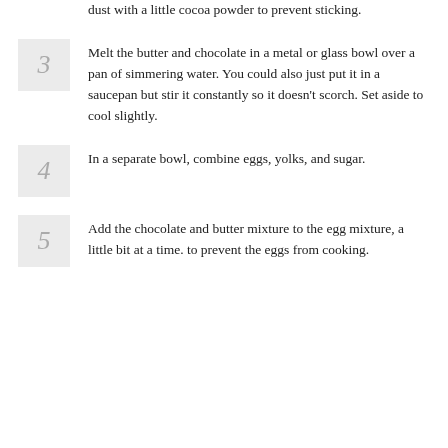dust with a little cocoa powder to prevent sticking.
3 Melt the butter and chocolate in a metal or glass bowl over a pan of simmering water. You could also just put it in a saucepan but stir it constantly so it doesn't scorch. Set aside to cool slightly.
4 In a separate bowl, combine eggs, yolks, and sugar.
5 Add the chocolate and butter mixture to the egg mixture, a little bit at a time. to prevent the eggs from cooking.